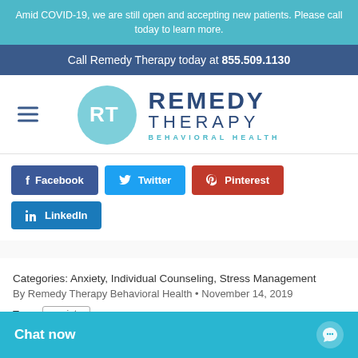Amid COVID-19, we are still open and accepting new patients. Please call today to learn more.
Call Remedy Therapy today at 855.509.1130
[Figure (logo): Remedy Therapy Behavioral Health logo with teal RT circle and dark blue text]
Facebook  Twitter  Pinterest  LinkedIn
Categories: Anxiety, Individual Counseling, Stress Management
By Remedy Therapy Behavioral Health • November 14, 2019
Tags: anxiety